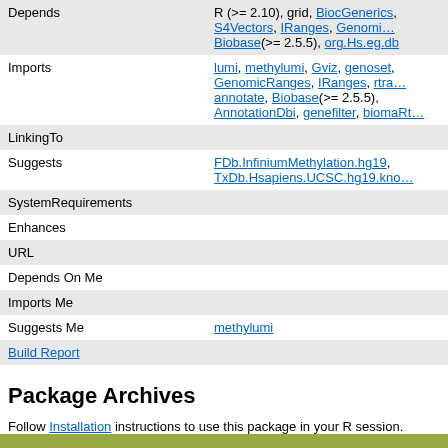| Field | Value |
| --- | --- |
| Depends | R (>= 2.10), grid, BiocGenerics, S4Vectors, IRanges, GenomicRanges, Biobase(>= 2.5.5), org.Hs.eg.db |
| Imports | lumi, methylumi, Gviz, genoset, GenomicRanges, IRanges, rtrackla annotate, Biobase(>= 2.5.5), AnnotationDbi, genefilter, biomaRt |
| LinkingTo |  |
| Suggests | FDb.InfiniumMethylation.hg19, TxDb.Hsapiens.UCSC.hg19.kno |
| SystemRequirements |  |
| Enhances |  |
| URL |  |
| Depends On Me |  |
| Imports Me |  |
| Suggests Me | methylumi |
| Build Report |  |
Package Archives
Follow Installation instructions to use this package in your R session.
|  |  |
| --- | --- |
| Package Source | methyAnalysis_1.8.0.tar.gz |
| Windows Binary | methyAnalysis_1.8.0.zip |
| Mac OS X 10.6 (Snow Leopard) | methyAnalysis_1.8.0.tgz |
| Mac OS X 10.9 (Mavericks) | methyAnalysis_1.8.0.tgz |
| Browse/checkout source | (username/password: readonly) |
| Package Downloads Report | Download Stats |